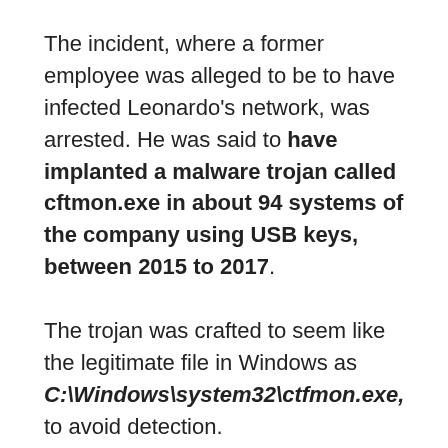The incident, where a former employee was alleged to be to have infected Leonardo's network, was arrested. He was said to have implanted a malware trojan called cftmon.exe in about 94 systems of the company using USB keys, between 2015 to 2017.
The trojan was crafted to seem like the legitimate file in Windows as C:\Windows\system32\ctfmon.exe, to avoid detection.
Using this trojan, they have stolen sensitive data like the company's defense data and military